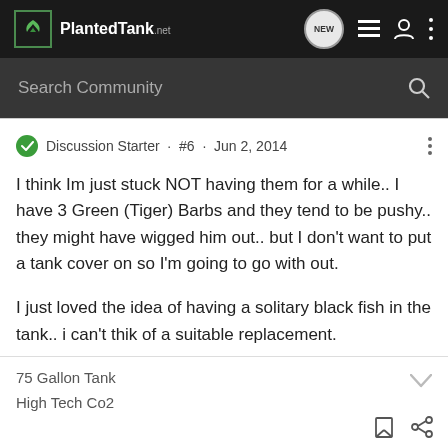PlantedTank.net
Search Community
Discussion Starter · #6 · Jun 2, 2014
I think Im just stuck NOT having them for a while.. I have 3 Green (Tiger) Barbs and they tend to be pushy.. they might have wigged him out.. but I don't want to put a tank cover on so I'm going to go with out.

I just loved the idea of having a solitary black fish in the tank.. i can't thik of a suitable replacement.
75 Gallon Tank
High Tech Co2